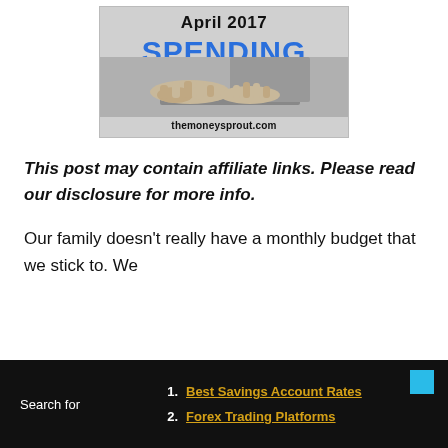[Figure (photo): Image with 'April 2017 SPENDING' text overlay in blue/black and laptop hands photo with themoneysprout.com URL]
This post may contain affiliate links. Please read our disclosure for more info.
Our family doesn’t really have a monthly budget that we stick to. We
1. Best Savings Account Rates
2. Forex Trading Platforms